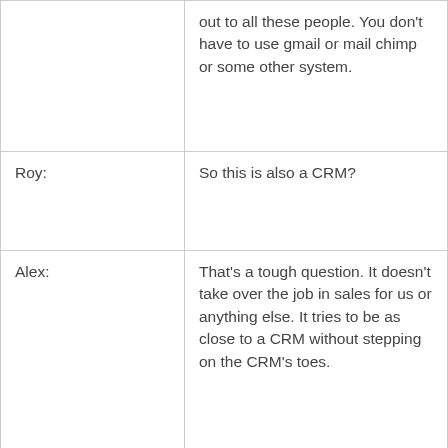|  | out to all these people. You don't have to use gmail or mail chimp or some other system. |
| Roy: | So this is also a CRM? |
| Alex: | That's a tough question. It doesn't take over the job in sales for us or anything else. It tries to be as close to a CRM without stepping on the CRM's toes. |
| Roy: | I assume it's integrated with companies like Sales Force. What kind of integrations do you have? |